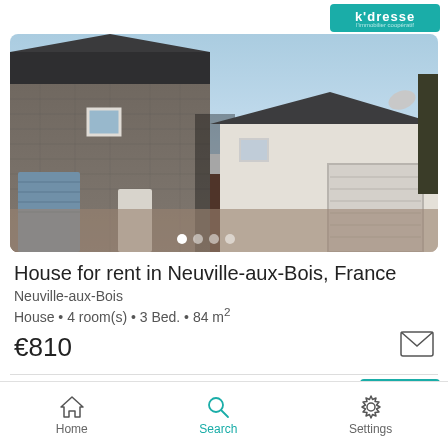[Figure (logo): Kadroe real estate logo, teal/green color with white text]
[Figure (photo): Exterior photo of a house for rent in Neuville-aux-Bois, France. Shows a stone building on the left with a blue garage door and a white rendered building on the right with a large garage door. Gravel driveway in foreground, blue sky visible.]
House for rent in Neuville-aux-Bois, France
Neuville-aux-Bois
House • 4 room(s) • 3 Bed. • 84 m²
€810
Home  Search  Settings